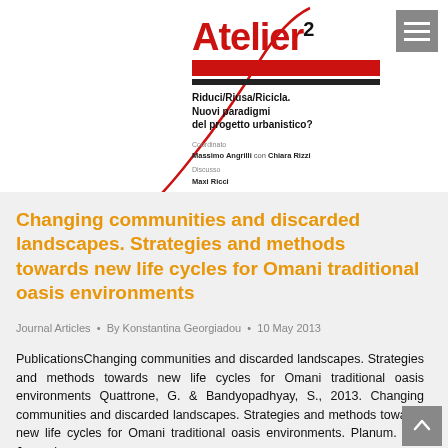[Figure (logo): Atelier² journal logo with red bars and subtitle: Riduci/Riusa/Ricicla. Nuovi paradigmi del progetto urbanistico? Coordinated by Massimo Angrilli and Chiara Rizzi, discussed by Maxi Ricci]
Changing communities and discarded landscapes. Strategies and methods towards new life cycles for Omani traditional oasis environments
Journal Articles  •  By Konstantina Georgiadou  •  10 May 2013
PublicationsChanging communities and discarded landscapes. Strategies and methods towards new life cycles for Omani traditional oasis environments Quattrone, G. & Bandyopadhyay, S., 2013. Changing communities and discarded landscapes. Strategies and methods towards new life cycles for Omani traditional oasis environments. Planum. The Journal